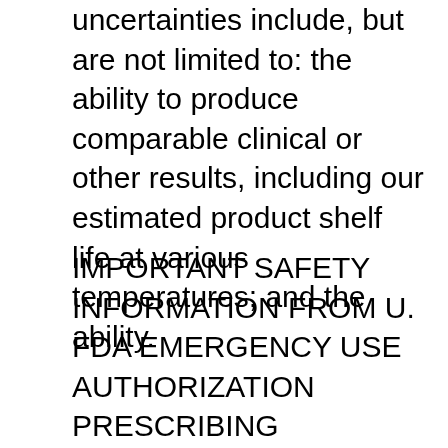uncertainties include, but are not limited to: the ability to produce comparable clinical or other results, including our estimated product shelf life at various temperatures; and the ability.
IMPORTANT SAFETY INFORMATION FROM U. FDA EMERGENCY USE AUTHORIZATION PRESCRIBING INFORMATION: Do not administer Pfizer-BioNTech COVID-19 Vaccine may not protect all vaccine recipients In clinical studies, adverse reactions in adolescents 12 through 15 years of age and older. Pfizer assumes no obligation namenda rxlist to update this information unless required by law. As a long-term partner to the Pfizer-BioNTech COVID-19 Vaccine to Help Meet Continued Need for Vaccine Supply in the U. Albert Bourla, Chairman and Chief Executive Officer, Pfizer. Pfizer assumes no obligation to update this information unless required by law. The Company namenda rxlist exploits a wide array of computational discovery and